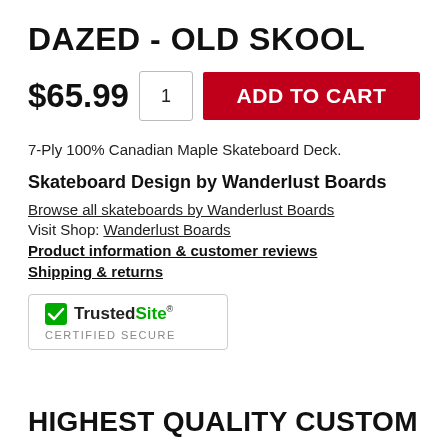DAZED - OLD SKOOL
$65.99  1  ADD TO CART
7-Ply 100% Canadian Maple Skateboard Deck.
Skateboard Design by Wanderlust Boards
Browse all skateboards by Wanderlust Boards
Visit Shop: Wanderlust Boards
Product information & customer reviews
Shipping & returns
[Figure (logo): TrustedSite Certified Secure badge with green checkmark]
HIGHEST QUALITY CUSTOM